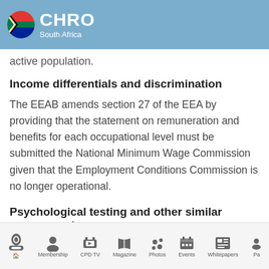CHRO South Africa
active population.
Income differentials and discrimination
The EEAB amends section 27 of the EEA by providing that the statement on remuneration and benefits for each occupational level must be submitted the National Minimum Wage Commission given that the Employment Conditions Commission is no longer operational.
Psychological testing and other similar assessments
Membership  CPD TV  Magazine  Photos  Events  Whitepapers  Pa...